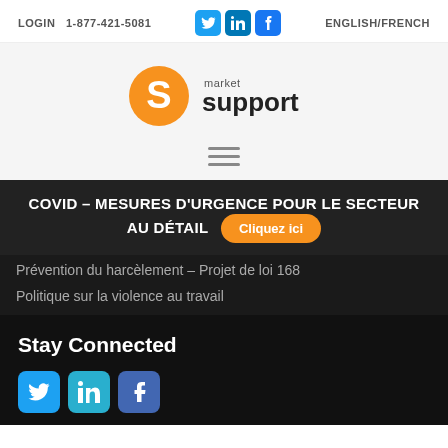LOGIN   1-877-421-5081   ENGLISH/FRENCH
[Figure (logo): Market Support logo with orange S icon and text 'market support']
[Figure (other): Hamburger menu icon with three horizontal lines]
COVID – MESURES D'URGENCE POUR LE SECTEUR AU DÉTAIL   Cliquez ici
Prévention du harcèlement – Projet de loi 168
Politique sur la violence au travail
Stay Connected
[Figure (other): Social media icons: Twitter, LinkedIn, Facebook at bottom]